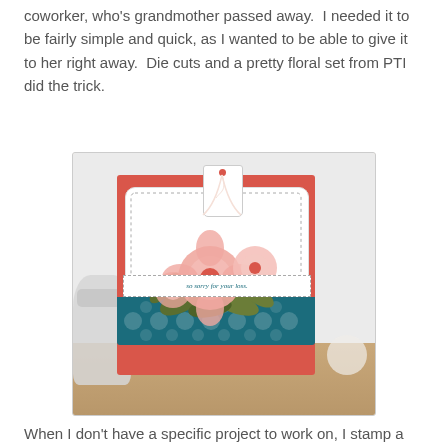coworker, who's grandmother passed away.  I needed it to be fairly simple and quick, as I wanted to be able to give it to her right away.  Die cuts and a pretty floral set from PTI did the trick.
[Figure (photo): A handmade sympathy card with pink flowers, a tag tied with white ribbon, teal polka dot pattern at the bottom, and the sentiment 'so sorry for your loss' on a white strip. The card is displayed on a wooden surface next to a mason jar.]
When I don't have a specific project to work on, I stamp a